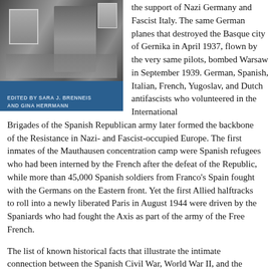[Figure (photo): Black and white photograph of a man at a desk, with a framed portrait visible, forming part of a book cover with blue background and editors' names.]
the support of Nazi Germany and Fascist Italy. The same German planes that destroyed the Basque city of Gernika in April 1937, flown by the very same pilots, bombed Warsaw in September 1939. German, Spanish, Italian, French, Yugoslav, and Dutch antifascists who volunteered in the International Brigades of the Spanish Republican army later formed the backbone of the Resistance in Nazi- and Fascist-occupied Europe. The first inmates of the Mauthausen concentration camp were Spanish refugees who had been interned by the French after the defeat of the Republic, while more than 45,000 Spanish soldiers from Franco's Spain fought with the Germans on the Eastern front. Yet the first Allied halftracks to roll into a newly liberated Paris in August 1944 were driven by the Spaniards who had fought the Axis as part of the army of the Free French.
The list of known historical facts that illustrate the intimate connection between the Spanish Civil War, World War II, and the Holocaust—and between the Franco regime and the Axis—is near endless. If many historians and textbooks still minimize those links, it is due to two main reasons: the fact that historians of Europe tend to ignore the continent's peripheries—and the historiographical impact of the Cold War. The latter underscored not only Spain's official neutrality during 1939-45